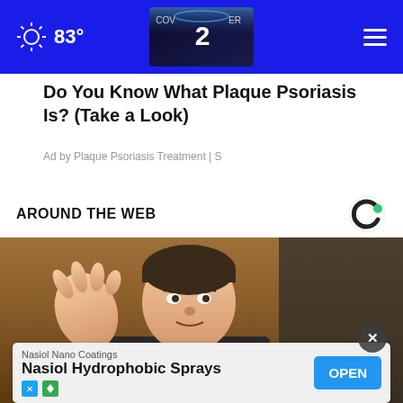83° [weather icon] [COVER 2 logo] [hamburger menu]
Do You Know What Plaque Psoriasis Is? (Take a Look)
Ad by Plaque Psoriasis Treatment | S
AROUND THE WEB
[Figure (photo): Man in suit gesturing with hand, speaking at what appears to be a hearing or press conference]
Nasiol Nano Coatings
Nasiol Hydrophobic Sprays
OPEN